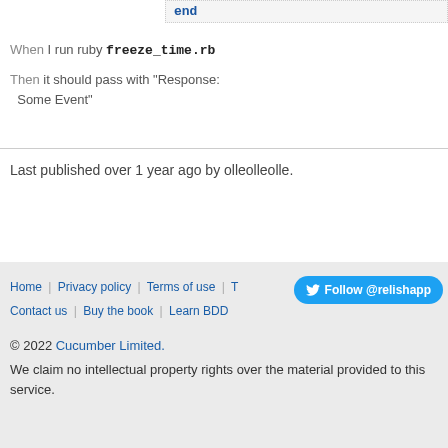end
When I run ruby freeze_time.rb
Then it should pass with "Response: Some Event"
Last published over 1 year ago by olleolleolle.
Home | Privacy policy | Terms of use | T... | Contact us | Buy the book | Learn BDD   Follow @relishapp   © 2022 Cucumber Limited.   We claim no intellectual property rights over the material provided to this service.